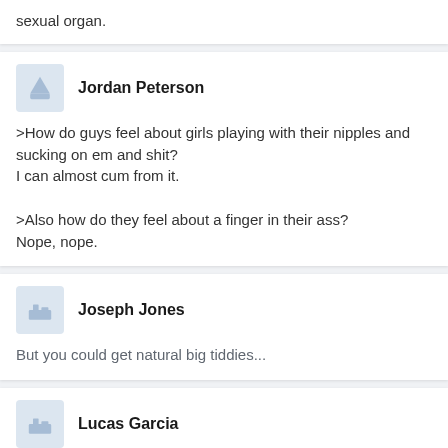sexual organ.
Jordan Peterson
>How do guys feel about girls playing with their nipples and sucking on em and shit?
I can almost cum from it.

>Also how do they feel about a finger in their ass?
Nope, nope.
Joseph Jones
But you could get natural big tiddies...
Lucas Garcia
But also... a kid
(partial avatar visible)